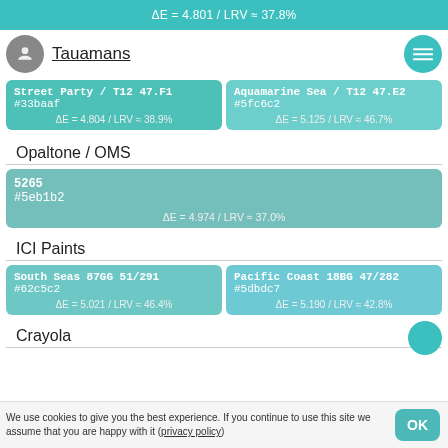ΔE = 4.801 / LRV ≈ 37.8%
Tauamans
| Color 1 | Color 2 |
| --- | --- |
| Street Party / T12 47.F1
#33baaf
ΔE = 4.804 / LRV ≈ 38.9% | Aquamarine Sea / T12 47.E2
#5fc6c2
ΔE = 5.125 / LRV ≈ 46.7% |
Opaltone / OMS
| Color |
| --- |
| 5265
#5eb1b2
ΔE = 4.974 / LRV ≈ 37.0% |
ICI Paints
| Color 1 | Color 2 |
| --- | --- |
| South Seas 87GG 51/291
#62c5c2
ΔE = 5.021 / LRV ≈ 46.4% | Pacific Coast 18BG 47/282
#5dbdc7
ΔE = 5.190 / LRV ≈ 42.8% |
Crayola
We use cookies to give you the best experience. If you continue to use this site we assume that you are happy with it (privacy policy)